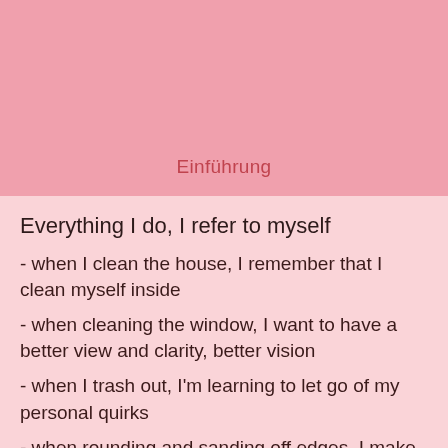Einführung
Everything I do, I refer to myself
- when I clean the house, I remember that I clean myself inside
- when cleaning the window, I want to have a better view and clarity, better vision
- when I trash out, I'm learning to let go of my personal quirks
- when rounding and sanding off edges, I make myself a little rounder and softer